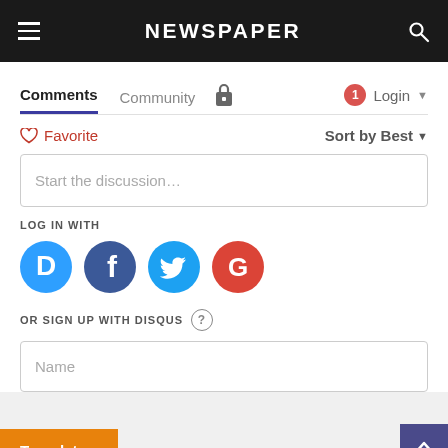NEWSPAPER
Comments  Community  Login
Favorite  Sort by Best
Start the discussion…
LOG IN WITH
[Figure (logo): Social login icons: Disqus (blue), Facebook (dark blue), Twitter (light blue), Google (red)]
OR SIGN UP WITH DISQUS
Name
Translate »
Be the first to comment